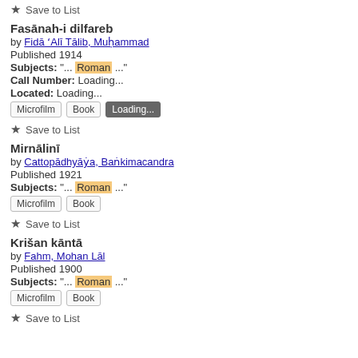Save to List
Fasānah-i dilfareb
by Fidā ʻAlī Tālib, Muḥammad
Published 1914
Subjects: "... Roman ..."
Call Number: Loading...
Located: Loading...
Microfilm  Book  Loading...
Save to List
Mirnālinī
by Cattopādhyāẏa, Baṅkimacandra
Published 1921
Subjects: "... Roman ..."
Microfilm  Book
Save to List
Krišan kāntā
by Fahm, Mohan Lāl
Published 1900
Subjects: "... Roman ..."
Microfilm  Book
Save to List